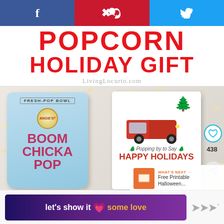[Figure (screenshot): Social sharing bar with Facebook (blue), Pinterest (red), and Twitter (light blue) icons]
POPCORN HOLIDAY GIFT
LivingLocurto.com
[Figure (photo): Photo of Angie's Boom Chicka Pop popcorn bag (light blue, Fresh-Pop Bowl) next to a holiday gift card featuring a red truck with a Christmas tree and text 'Popping by to Say HAPPY HOLIDAYS'. Scattered popcorn pieces on a light background. Pinterest save button, 438 count, share button, and 'WHAT'S NEXT: Free Printable Halloween...' overlay visible.]
[Figure (screenshot): Advertisement banner: purple/dark gradient background with text 'let's show it some love' (heart emoji in the middle, 'love' in gold). Logo 'iiii' mark to the right.]